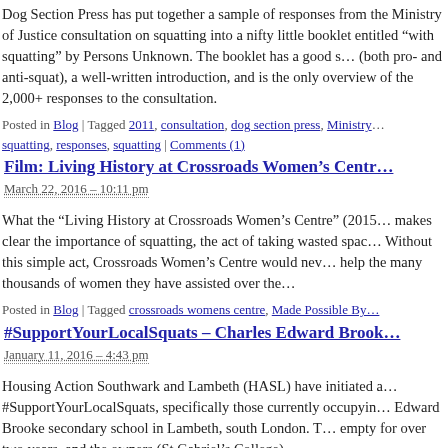Dog Section Press has put together a sample of responses from the Ministry of Justice consultation on squatting into a nifty little booklet entitled "with squatting" by Persons Unknown. The booklet has a good selection (both pro- and anti-squat), a well-written introduction, and is the only overview of the 2,000+ responses to the consultation.
Posted in Blog | Tagged 2011, consultation, dog section press, Ministry of Justice, squatting, responses, squatting | Comments (1)
Film: Living History at Crossroads Women's Centre
March 22, 2016 – 10:11 pm
What the “Living History at Crossroads Women’s Centre” (2015) makes clear the importance of squatting, the act of taking wasted space. Without this simple act, Crossroads Women’s Centre would never have been able to help the many thousands of women they have assisted over the years.
Posted in Blog | Tagged crossroads womens centre, Made Possible By
#SupportYourLocalSquats – Charles Edward Brook
January 11, 2016 – 4:43 pm
Housing Action Southwark and Lambeth (HASL) have initiated a campaign #SupportYourLocalSquats, specifically those currently occupying Charles Edward Brooke secondary school in Lambeth, south London. The building has been empty for over two years, and the owners (St Gabriel’s College)